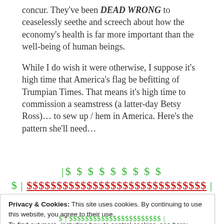concur. They've been DEAD WRONG to ceaselessly seethe and screech about how the economy's health is far more important than the well-being of human beings.
While I do wish it were otherwise, I suppose it's high time that America's flag be befitting of Trumpian Times. That means it's high time to commission a seamstress (a latter-day Betsy Ross)… to sew up / hem in America. Here's the pattern she'll need…
[Figure (other): Decorative dollar sign pattern: a row of green dollar signs preceded by a pipe, then a row with green dollar sign and pipe, followed by a long row of red underlined dollar signs, then partial row cut off.]
Privacy & Cookies: This site uses cookies. By continuing to use this website, you agree to their use.
To find out more, including how to control cookies, see here: Cookie Policy
Close and accept